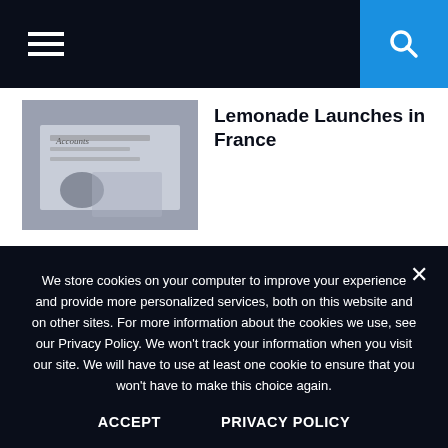≡  [Search]
[Figure (photo): Person signing or working at a laptop/desk with papers]
Lemonade Launches in France
[Figure (photo): AI fintech concept: hand pointing at glowing digital icons including house, car, AI, cloud on dark background]
A Few Top AI-Powered Fintech Platforms That Are Redefining...
We store cookies on your computer to improve your experience and provide more personalized services, both on this website and on other sites. For more information about the cookies we use, see our Privacy Policy. We won't track your information when you visit our site. We will have to use at least one cookie to ensure that you won't have to make this choice again.
ACCEPT   PRIVACY POLICY